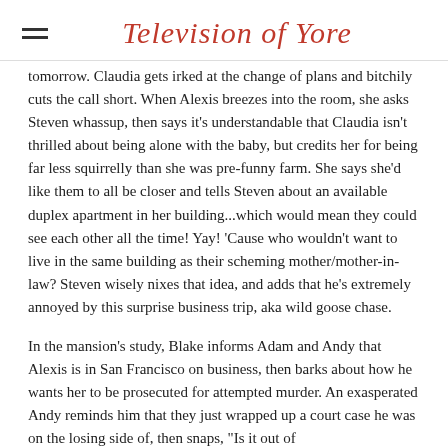Television of Yore
tomorrow. Claudia gets irked at the change of plans and bitchily cuts the call short. When Alexis breezes into the room, she asks Steven whassup, then says it's understandable that Claudia isn't thrilled about being alone with the baby, but credits her for being far less squirrelly than she was pre-funny farm. She says she'd like them to all be closer and tells Steven about an available duplex apartment in her building...which would mean they could see each other all the time! Yay! 'Cause who wouldn't want to live in the same building as their scheming mother/mother-in-law? Steven wisely nixes that idea, and adds that he's extremely annoyed by this surprise business trip, aka wild goose chase.
In the mansion's study, Blake informs Adam and Andy that Alexis is in San Francisco on business, then barks about how he wants her to be prosecuted for attempted murder. An exasperated Andy reminds him that they just wrapped up a court case he was on the losing side of, then snaps, "Is it out of